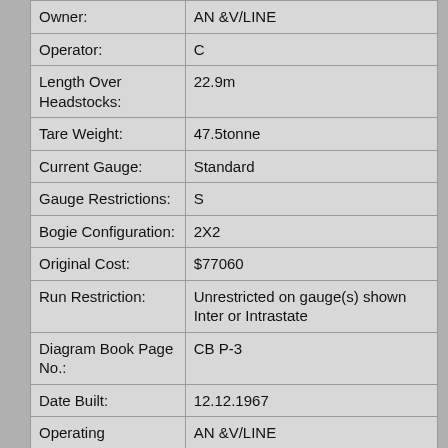| Owner: | AN &V/LINE |
| Operator: | C |
| Length Over Headstocks: | 22.9m |
| Tare Weight: | 47.5tonne |
| Current Gauge: | Standard |
| Gauge Restrictions: | S |
| Bogie Configuration: | 2X2 |
| Original Cost: | $77060 |
| Run Restriction: | Unrestricted on gauge(s) shown Inter or Intrastate |
| Diagram Book Page No.: | CB P-3 |
| Date Built: | 12.12.1967 |
| Operating | AN &V/LINE |